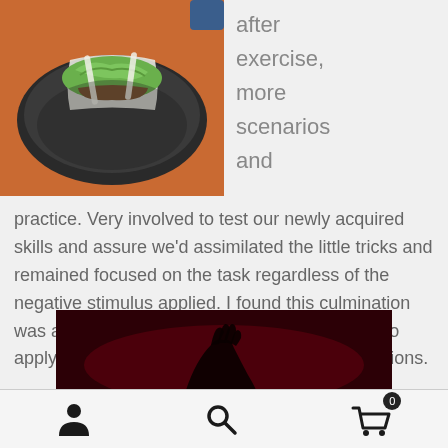[Figure (photo): Overhead view of a taco or wrap in a dark bowl on an orange table surface]
after exercise, more scenarios and
practice. Very involved to test our newly acquired skills and assure we'd assimilated the little tricks and remained focused on the task regardless of the negative stimulus applied. I found this culmination was a thorough test of my skills and my ability to apply them under stress and in unknown conditions.
[Figure (photo): Dark image with red background showing a shadowy hand or figure silhouette]